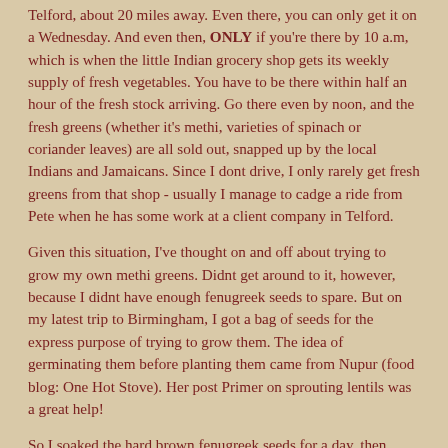Telford, about 20 miles away. Even there, you can only get it on a Wednesday. And even then, ONLY if you're there by 10 a.m, which is when the little Indian grocery shop gets its weekly supply of fresh vegetables. You have to be there within half an hour of the fresh stock arriving. Go there even by noon, and the fresh greens (whether it's methi, varieties of spinach or coriander leaves) are all sold out, snapped up by the local Indians and Jamaicans. Since I dont drive, I only rarely get fresh greens from that shop - usually I manage to cadge a ride from Pete when he has some work at a client company in Telford.
Given this situation, I've thought on and off about trying to grow my own methi greens. Didnt get around to it, however, because I didnt have enough fenugreek seeds to spare. But on my latest trip to Birmingham, I got a bag of seeds for the express purpose of trying to grow them. The idea of germinating them before planting them came from Nupur (food blog: One Hot Stove). Her post Primer on sprouting lentils was a great help!
So I soaked the hard brown fenugreek seeds for a day, then wrapped them up in damp cheesecloth for 4-5 hours - by which time they were sprouting little green shoots. Then I dumped half of them in a row of pots in my conservatory and the rest into a small...